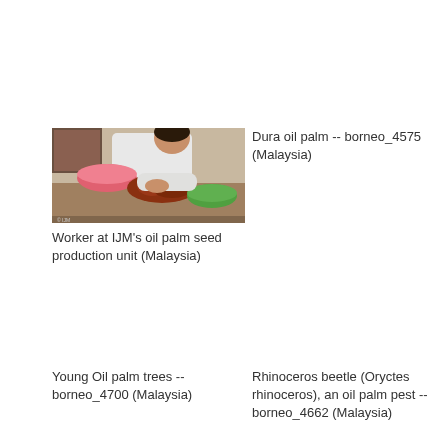[Figure (photo): Worker at IJM's oil palm seed production unit, handling orange/red palm fruits with pink and green bowls on the table]
Worker at IJM's oil palm seed production unit (Malaysia)
Dura oil palm -- borneo_4575 (Malaysia)
Young Oil palm trees -- borneo_4700 (Malaysia)
Rhinoceros beetle (Oryctes rhinoceros), an oil palm pest -- borneo_4662 (Malaysia)